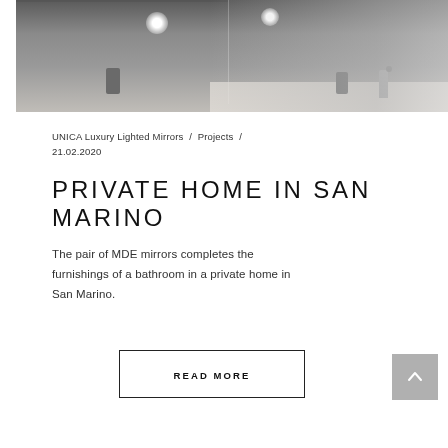[Figure (photo): Bathroom interior with lighted mirrors above a sink countertop. Two rectangular mirrors with round glowing lights, modern faucets, and a white basin are visible. The wall has a concrete-like gray finish.]
UNICA Luxury Lighted Mirrors  /  Projects  /  21.02.2020
PRIVATE HOME IN SAN MARINO
The pair of MDE mirrors completes the furnishings of a bathroom in a private home in San Marino.
READ MORE